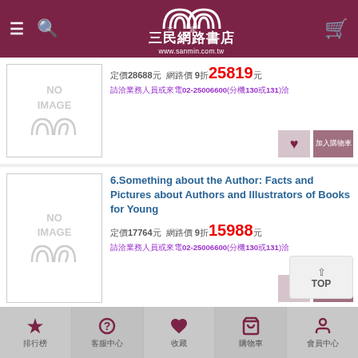三民網路書店 www.sanmin.com.tw
[Figure (screenshot): Product card 1 - NO IMAGE placeholder with price 定價28688元, 網路價 9折 25819元, phone 請洽業務人員或來電02-25006600(分機130或131)洽]
[Figure (screenshot): Product card 2 - 6. Something about the Author: Facts and Pictures about Authors and Illustrators of Books for Young. 定價17764元, 網路價 9折 15988元, phone info]
[Figure (screenshot): Product card 3 - 7. Short Story Criticism: Excerpts from Criticism of the Works of Short Fiction Writers. 定價21443元, 網路價 9折 19299元]
排行榜 | 客服中心 | 收藏 | 購物車 | 會員中心